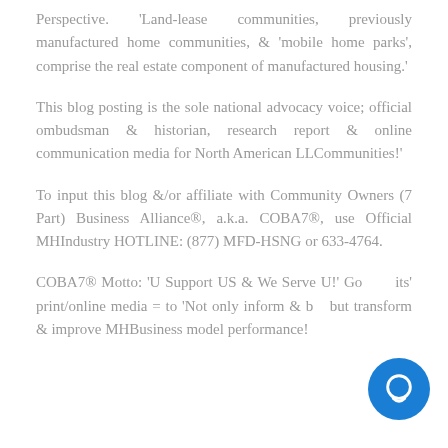Perspective. 'Land-lease communities, previously manufactured home communities, & 'mobile home parks', comprise the real estate component of manufactured housing.'
This blog posting is the sole national advocacy voice; official ombudsman & historian, research report & online communication media for North American LLCommunities!'
To input this blog &/or affiliate with Community Owners (7 Part) Business Alliance®, a.k.a. COBA7®, use Official MHIndustry HOTLINE: (877) MFD-HSNG or 633-4764.
COBA7® Motto: 'U Support US & We Serve U!' Goal of its' print/online media = to 'Not only inform & but transform & improve MHBusiness model performance!